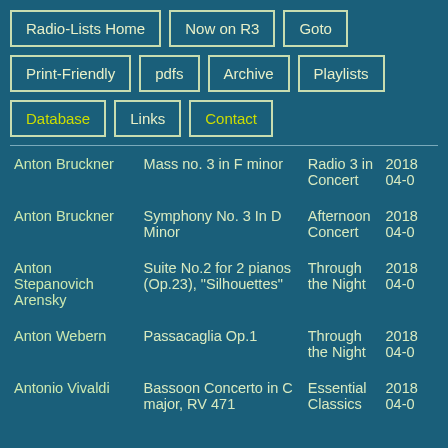Radio-Lists Home | Now on R3 | Goto
Print-Friendly | pdfs | Archive | Playlists
Database | Links | Contact
| Composer | Work | Programme | Date |
| --- | --- | --- | --- |
| Anton Bruckner | Mass no. 3 in F minor | Radio 3 in Concert | 2018-04-0… |
| Anton Bruckner | Symphony No. 3 In D Minor | Afternoon Concert | 2018-04-0… |
| Anton Stepanovich Arensky | Suite No.2 for 2 pianos (Op.23), "Silhouettes" | Through the Night | 2018-04-0… |
| Anton Webern | Passacaglia Op.1 | Through the Night | 2018-04-0… |
| Antonio Vivaldi | Bassoon Concerto in C major, RV 471 | Essential Classics | 2018-04-0… |